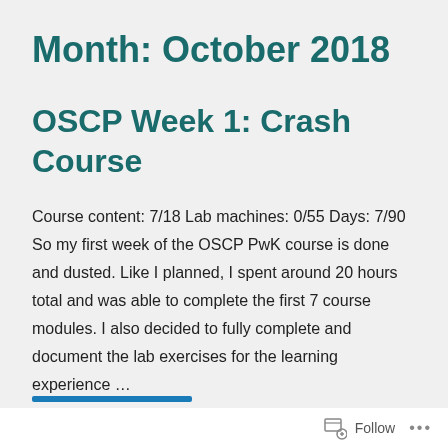Month: October 2018
OSCP Week 1: Crash Course
Course content: 7/18 Lab machines: 0/55 Days: 7/90 So my first week of the OSCP PwK course is done and dusted. Like I planned, I spent around 20 hours total and was able to complete the first 7 course modules. I also decided to fully complete and document the lab exercises for the learning experience …
Follow